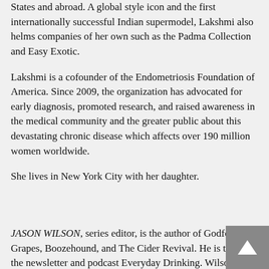States and abroad. A global style icon and the first internationally successful Indian supermodel, Lakshmi also helms companies of her own such as the Padma Collection and Easy Exotic.
Lakshmi is a cofounder of the Endometriosis Foundation of America. Since 2009, the organization has advocated for early diagnosis, promoted research, and raised awareness in the medical community and the greater public about this devastating chronic disease which affects over 190 million women worldwide.
She lives in New York City with her daughter.
JASON WILSON, series editor, is the author of Godforsaken Grapes, Boozehound, and The Cider Revival. He is the cre the newsletter and podcast Everyday Drinking. Wilson has the series editor of The Best American Travel Writing is it